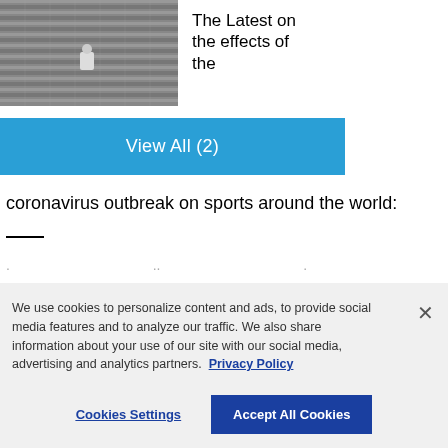[Figure (photo): A person sitting alone in empty stadium bleacher seats with horizontal lines pattern]
The Latest on the effects of the
View All (2)
coronavirus outbreak on sports around the world:
We use cookies to personalize content and ads, to provide social media features and to analyze our traffic. We also share information about your use of our site with our social media, advertising and analytics partners. Privacy Policy
Cookies Settings
Accept All Cookies